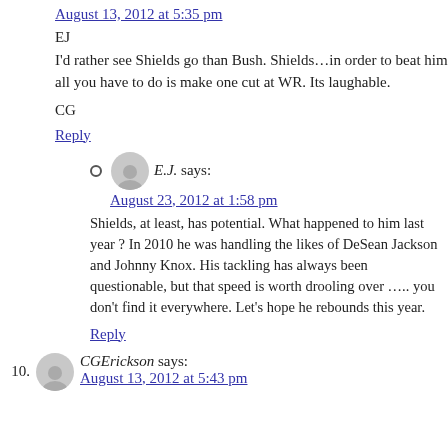August 13, 2012 at 5:35 pm
EJ
I'd rather see Shields go than Bush. Shields…in order to beat him all you have to do is make one cut at WR. Its laughable.
CG
Reply
E.J. says: August 23, 2012 at 1:58 pm
Shields, at least, has potential. What happened to him last year ? In 2010 he was handling the likes of DeSean Jackson and Johnny Knox. His tackling has always been questionable, but that speed is worth drooling over ….. you don't find it everywhere. Let's hope he rebounds this year.
Reply
10. CGErickson says: August 13, 2012 at 5:43 pm